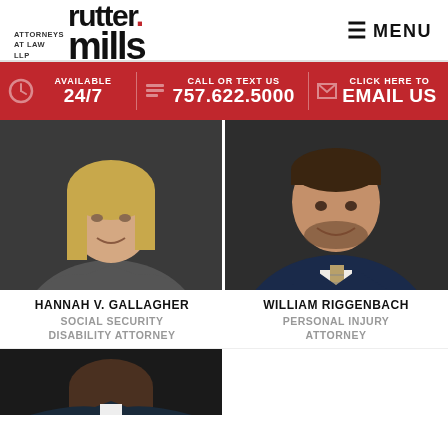[Figure (logo): Rutter Mills Attorneys at Law LLP logo]
MENU
AVAILABLE 24/7 | CALL OR TEXT US 757.622.5000 | CLICK HERE TO EMAIL US
[Figure (photo): Hannah V. Gallagher professional headshot, woman with blonde hair in grey blazer]
[Figure (photo): William Riggenbach professional headshot, man in navy suit with striped tie]
HANNAH V. GALLAGHER
SOCIAL SECURITY DISABILITY ATTORNEY
WILLIAM RIGGENBACH
PERSONAL INJURY ATTORNEY
[Figure (photo): Third attorney professional headshot, partial view]